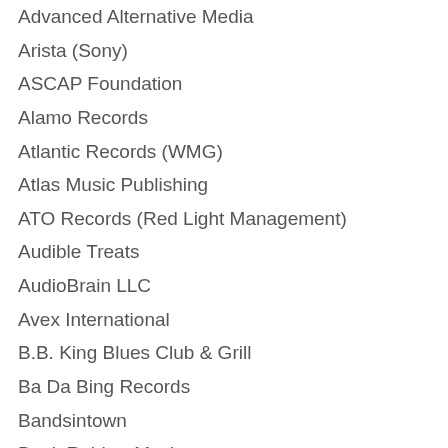Advanced Alternative Media
Arista (Sony)
ASCAP Foundation
Alamo Records
Atlantic Records (WMG)
Atlas Music Publishing
ATO Records (Red Light Management)
Audible Treats
AudioBrain LLC
Avex International
B.B. King Blues Club & Grill
Ba Da Bing Records
Bandsintown
Bank Robber Music
Bayonet Records
Big Beach